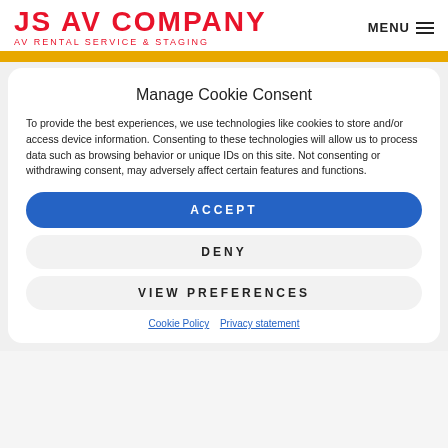JS AV COMPANY | Av Rental Service & Staging | MENU
Manage Cookie Consent
To provide the best experiences, we use technologies like cookies to store and/or access device information. Consenting to these technologies will allow us to process data such as browsing behavior or unique IDs on this site. Not consenting or withdrawing consent, may adversely affect certain features and functions.
ACCEPT
DENY
VIEW PREFERENCES
Cookie Policy   Privacy statement